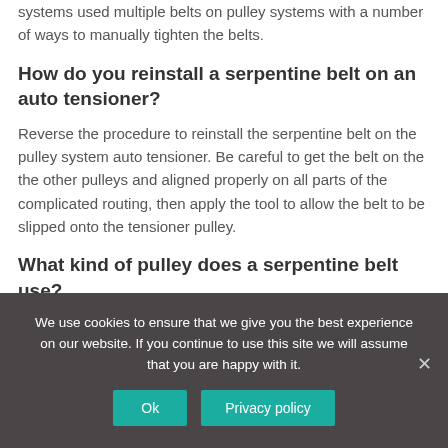systems used multiple belts on pulley systems with a number of ways to manually tighten the belts.
How do you reinstall a serpentine belt on an auto tensioner?
Reverse the procedure to reinstall the serpentine belt on the pulley system auto tensioner. Be careful to get the belt on the the other pulleys and aligned properly on all parts of the complicated routing, then apply the tool to allow the belt to be slipped onto the tensioner pulley.
What kind of pulley does a serpentine belt use?
We use cookies to ensure that we give you the best experience on our website. If you continue to use this site we will assume that you are happy with it.